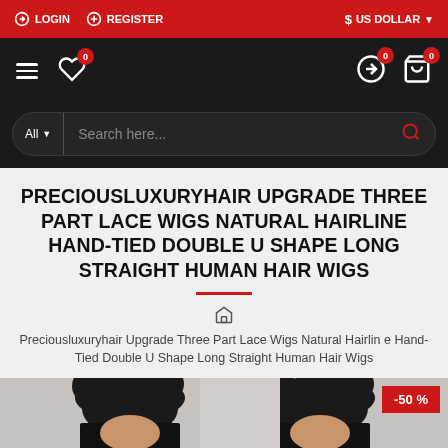LOGIN  REGISTER  $ US DOLLAR
Navigation bar with hamburger menu, wishlist (0), compare (0), cart (0)
Search bar: All | Search here...
PRECIOUSLUXURYHAIR UPGRADE THREE PART LACE WIGS NATURAL HAIRLINE HAND-TIED DOUBLE U SHAPE LONG STRAIGHT HUMAN HAIR WIGS
Preciousluxuryhair Upgrade Three Part Lace Wigs Natural Hairline Hand-Tied Double U Shape Long Straight Human Hair Wigs
[Figure (photo): Product photo showing two women with long straight black hair wigs styled with space buns. A -50% discount badge is shown in the top right corner.]